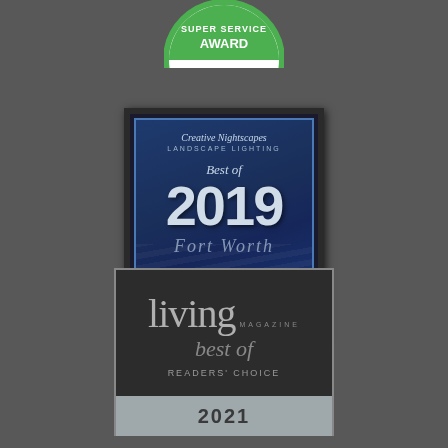[Figure (logo): Angie's List Super Service Award badge — green and white circular badge with text 'SUPER SERVICE AWARD']
[Figure (photo): Best of 2019 Fort Worth award plaque — dark blue framed award certificate reading 'Creative Nightscapes LANDSCAPE LIGHTING Best of 2019 Fort Worth' with decorative stripes background]
[Figure (logo): Living Magazine best of Readers' Choice 2021 award badge — dark square frame with 'living MAGAZINE best of READERS' CHOICE 2021']